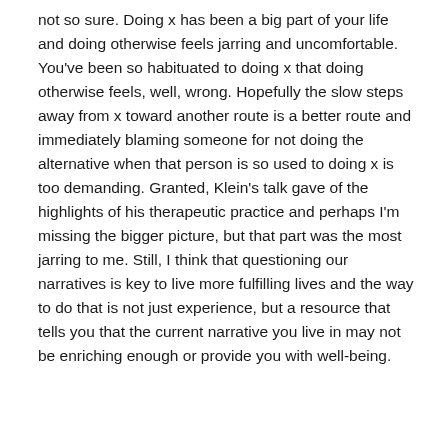not so sure. Doing x has been a big part of your life and doing otherwise feels jarring and uncomfortable. You've been so habituated to doing x that doing otherwise feels, well, wrong. Hopefully the slow steps away from x toward another route is a better route and immediately blaming someone for not doing the alternative when that person is so used to doing x is too demanding. Granted, Klein's talk gave of the highlights of his therapeutic practice and perhaps I'm missing the bigger picture, but that part was the most jarring to me. Still, I think that questioning our narratives is key to live more fulfilling lives and the way to do that is not just experience, but a resource that tells you that the current narrative you live in may not be enriching enough or provide you with well-being.